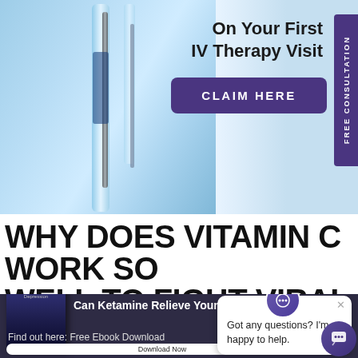[Figure (photo): IV therapy banner with medical vials/syringes on blue background, with 'On Your First IV Therapy Visit' text, purple CLAIM HERE button, and FREE CONSULTATION vertical tab on right]
WHY DOES VITAMIN C WORK SO WELL TO FIGHT VIRAL
[Figure (screenshot): Dark popup bar: book image on left, 'Can Ketamine Relieve Your Depression?' text, X close button. Chat widget bubble with 'Got any questions? I'm happy to help.' overlapping. 'Find out here: Free Ebook Download' text, Download Now button, chat icon circle bottom right.]